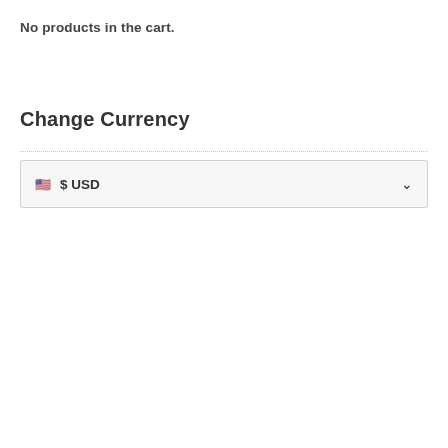No products in the cart.
Change Currency
🟫🟫 $ USD